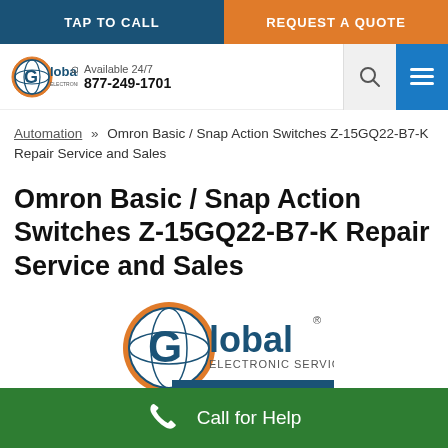TAP TO CALL | REQUEST A QUOTE
[Figure (logo): Global Electronic Services Inc. logo with phone number, Available 24/7, 877-249-1701]
Automation » Omron Basic / Snap Action Switches Z-15GQ22-B7-K Repair Service and Sales
Omron Basic / Snap Action Switches Z-15GQ22-B7-K Repair Service and Sales
[Figure (logo): Global Electronic Services Inc. large logo with tagline REPAIR • CONSULTING • SALES]
Call for Help